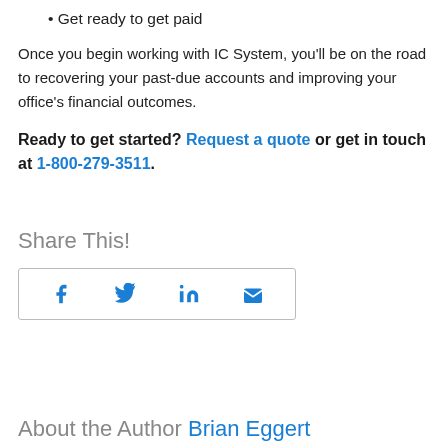Get ready to get paid
Once you begin working with IC System, you'll be on the road to recovering your past-due accounts and improving your office's financial outcomes.
Ready to get started? Request a quote or get in touch at 1-800-279-3511.
Share This!
[Figure (other): Social sharing icons: Facebook, Twitter, LinkedIn, Email in a bordered box]
About the Author Brian Eggert